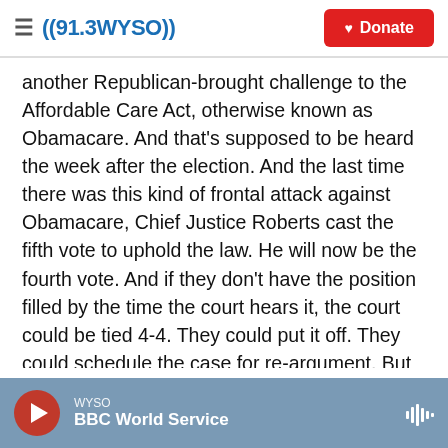((91.3 WYSO)) Donate
another Republican-brought challenge to the Affordable Care Act, otherwise known as Obamacare. And that's supposed to be heard the week after the election. And the last time there was this kind of frontal attack against Obamacare, Chief Justice Roberts cast the fifth vote to uphold the law. He will now be the fourth vote. And if they don't have the position filled by the time the court hears it, the court could be tied 4-4. They could put it off. They could schedule the case for re-argument. But it gives you a sense of the sort of sea change - ideological sea change that was already working in many areas of the law but had
WYSO BBC World Service